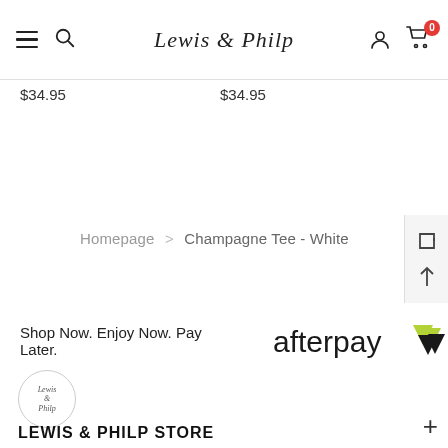Lewis & Philp
$34.95  $34.95
Homepage > Champagne Tee - White
[Figure (logo): Afterpay logo with text 'Shop Now. Enjoy Now. Pay Later.']
[Figure (logo): Lewis & Philp circular logo]
LEWIS & PHILP STORE